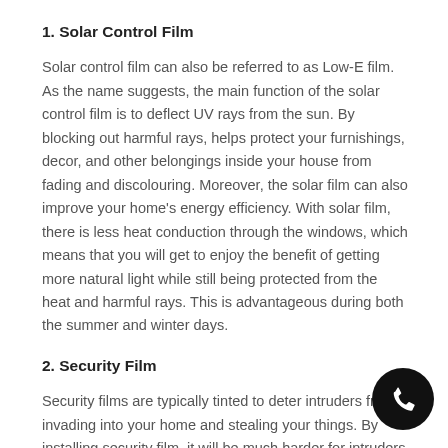1. Solar Control Film
Solar control film can also be referred to as Low-E film. As the name suggests, the main function of the solar control film is to deflect UV rays from the sun. By blocking out harmful rays, helps protect your furnishings, decor, and other belongings inside your house from fading and discolouring. Moreover, the solar film can also improve your home’s energy efficiency. With solar film, there is less heat conduction through the windows, which means that you will get to enjoy the benefit of getting more natural light while still being protected from the heat and harmful rays. This is advantageous during both the summer and winter days.
2. Security Film
Security films are typically tinted to deter intruders from invading into your home and stealing your things. By installing security film, it will be much harder for intruders to see through the windows. Even better, intruders will also have a difficult time breaking the glass as well. Unlike untreated glass that shatters easily, windows with security film will not shatter. Although the film does not stop the glass from breaking, it can